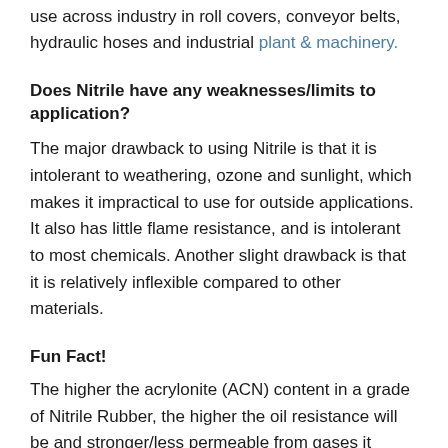use across industry in roll covers, conveyor belts, hydraulic hoses and industrial plant & machinery.
Does Nitrile have any weaknesses/limits to application?
The major drawback to using Nitrile is that it is intolerant to weathering, ozone and sunlight, which makes it impractical to use for outside applications. It also has little flame resistance, and is intolerant to most chemicals. Another slight drawback is that it is relatively inflexible compared to other materials.
Fun Fact!
The higher the acrylonite (ACN) content in a grade of Nitrile Rubber, the higher the oil resistance will be and stronger/less permeable from gases it becomes. However there is a trade off as increasing the ACN content and therefore its oil resistance,  will result in a worsening of its low temperature tolerance.